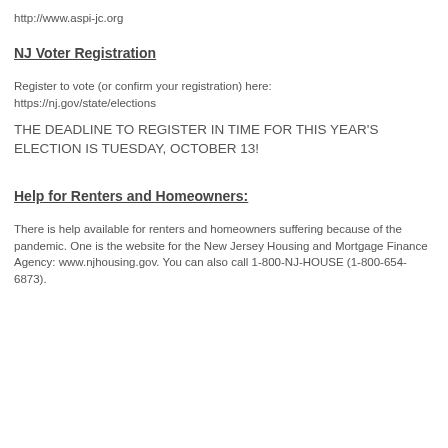http://www.aspi-jc.org
NJ Voter Registration
Register to vote (or confirm your registration) here: https://nj.gov/state/elections
THE DEADLINE TO REGISTER IN TIME FOR THIS YEAR'S ELECTION IS TUESDAY, OCTOBER 13!
Help for Renters and Homeowners:
There is help available for renters and homeowners suffering because of the pandemic. One is the website for the New Jersey Housing and Mortgage Finance Agency: www.njhousing.gov. You can also call 1-800-NJ-HOUSE (1-800-654-6873).